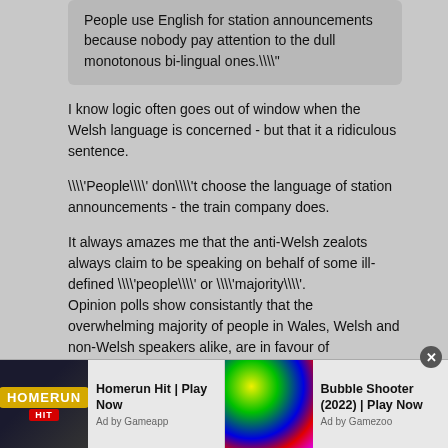People use English for station announcements because nobody pay attention to the dull monotonous bi-lingual ones.\\"
I know logic often goes out of window when the Welsh language is concerned - but that it a ridiculous sentence.
\\'People\\' don\\'t choose the language of station announcements - the train company does.
It always amazes me that the anti-Welsh zealots always claim to be speaking on behalf of some ill-defined \\'people\\' or \\'majority\\'.
Opinion polls show consistantly that the overwhelming majority of people in Wales, Welsh and non-Welsh speakers alike, are in favour of government action to support the language.
[Figure (screenshot): Ad bar at bottom: Homerun Hit Play Now (Ad by Gameapp) and Bubble Shooter (2022) Play Now (Ad by Gamezoo), with close button]